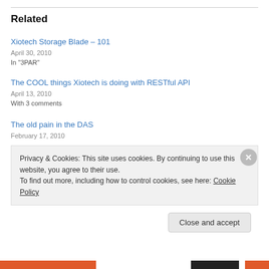Related
Xiotech Storage Blade – 101
April 30, 2010
In "3PAR"
The COOL things Xiotech is doing with RESTful API
April 13, 2010
With 3 comments
The old pain in the DAS
February 17, 2010
Privacy & Cookies: This site uses cookies. By continuing to use this website, you agree to their use.
To find out more, including how to control cookies, see here: Cookie Policy
Close and accept